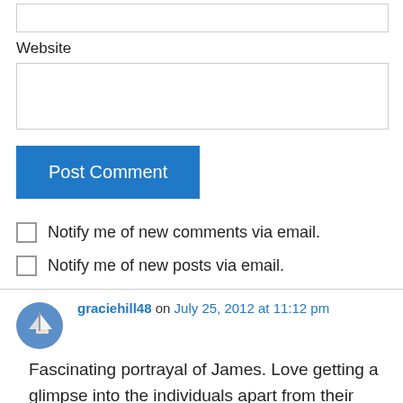Website
Post Comment
Notify me of new comments via email.
Notify me of new posts via email.
graciehill48 on July 25, 2012 at 11:12 pm
Fascinating portrayal of James. Love getting a glimpse into the individuals apart from their writings. Thank you.